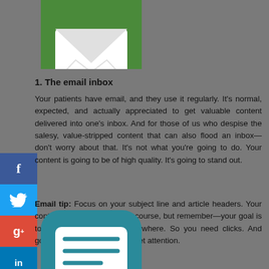[Figure (illustration): Green rounded square app icon with white envelope/email symbol, partially cropped at top]
1. The email inbox
Your patients have email, and they use it regularly. It’s normal, expected, and actually appreciated to get valuable content delivered into one’s inbox. And for those of us who despise the salesy, value-stripped content that can also flood an inbox—don’t worry about that. It’s not what you’re going to do. Your content is going to be of high quality. It’s going to stand out.
Email tip: Focus on your subject line and article headers. Your content will be good, too, of course, but remember—your goal is to be here, there, and everywhere. So you need clicks. And good subject lines and titles get attention.
[Figure (illustration): Teal/dark-cyan rounded square app icon with white chat/messaging bubble containing lines, partially cropped at bottom]